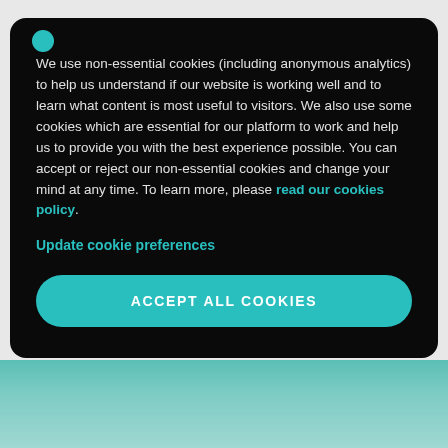We use non-essential cookies (including anonymous analytics) to help us understand if our website is working well and to learn what content is most useful to visitors. We also use some cookies which are essential for our platform to work and help us to provide you with the best experience possible. You can accept or reject our non-essential cookies and change your mind at any time. To learn more, please read our cookies policy.
Update cookie preferences
ACCEPT ALL COOKIES
[Figure (photo): Bottom portion of page showing a teal/green blurred background image, partially visible beneath the cookie modal.]